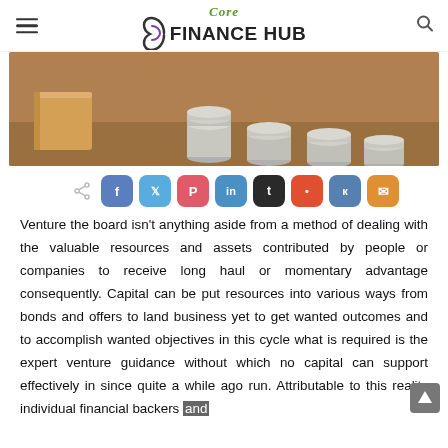Core Finance Hub
[Figure (photo): Photo of stacked silver coins on a wooden surface next to a wooden block, representing investment and savings concept]
[Figure (infographic): Social share buttons row: share icon, Facebook, Twitter, Pinterest, LinkedIn, Tumblr, Reddit, VK, Email]
Venture the board isn't anything aside from a method of dealing with the valuable resources and assets contributed by people or companies to receive long haul or momentary advantage consequently. Capital can be put resources into various ways from bonds and offers to land business yet to get wanted outcomes and to accomplish wanted objectives in this cycle what is required is the expert venture guidance without which no capital can support effectively in since quite a while ago run. Attributable to this reality individual financial backers and